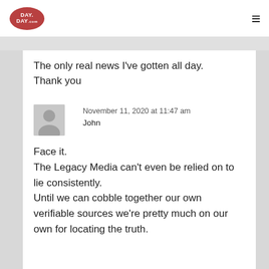[Figure (logo): Day Day logo - red oval with white text]
The only real news I've gotten all day. Thank you
November 11, 2020 at 11:47 am
John
Face it.
The Legacy Media can't even be relied on to lie consistently.
Until we can cobble together our own verifiable sources we're pretty much on our own for locating the truth.